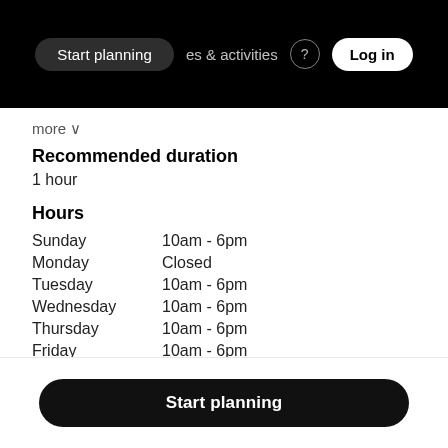Start planning   places & activities   Log in
more ∨
Recommended duration
1 hour
Hours
| Day | Hours |
| --- | --- |
| Sunday | 10am - 6pm |
| Monday | Closed |
| Tuesday | 10am - 6pm |
| Wednesday | 10am - 6pm |
| Thursday | 10am - 6pm |
| Friday | 10am - 6pm |
| Saturday | 10am - 6pm |
Contact
Start planning